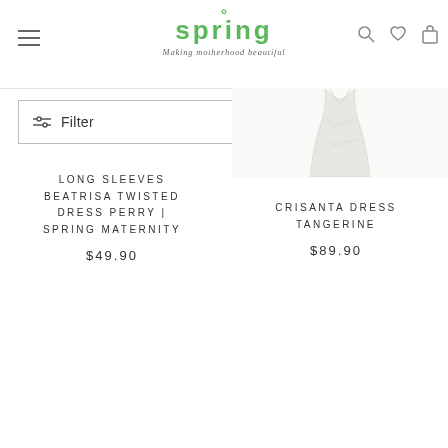spring — Making motherhood beautiful
Filter
[Figure (photo): Partial view of a white/cream dress product image for Crisanta Dress Tangerine]
LONG SLEEVES BEATRISA TWISTED DRESS PERRY | SPRING MATERNITY
$49.90
CRISANTA DRESS TANGERINE
$89.90